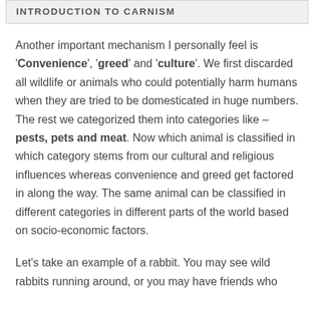INTRODUCTION TO CARNISM
Another important mechanism I personally feel is 'Convenience', 'greed' and 'culture'. We first discarded all wildlife or animals who could potentially harm humans when they are tried to be domesticated in huge numbers. The rest we categorized them into categories like – pests, pets and meat. Now which animal is classified in which category stems from our cultural and religious influences whereas convenience and greed get factored in along the way. The same animal can be classified in different categories in different parts of the world based on socio-economic factors.
Let's take an example of a rabbit. You may see wild rabbits running around, or you may have friends who